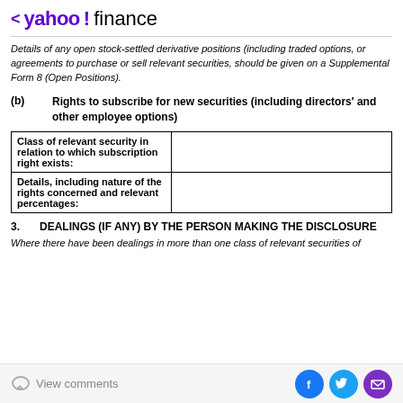< yahoo!finance
Details of any open stock-settled derivative positions (including traded options, or agreements to purchase or sell relevant securities, should be given on a Supplemental Form 8 (Open Positions).
(b)  Rights to subscribe for new securities (including directors' and other employee options)
|  |  |
| --- | --- |
| Class of relevant security in relation to which subscription right exists: |  |
| Details, including nature of the rights concerned and relevant percentages: |  |
3.  DEALINGS (IF ANY) BY THE PERSON MAKING THE DISCLOSURE
Where there have been dealings in more than one class of relevant securities of
View comments